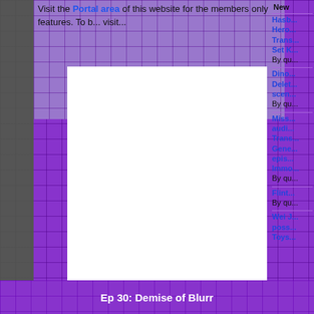Visit the Portal area of this website for the members only features. To b... visit...
[Figure (screenshot): White box with 'Couldn't load plugin.' message in gray text, embedded in a purple grid-patterned website layout]
New
Hasb... Hero... Trans... Set K... By qu...
Dino... Delet... scen... By qu...
Miss... audi... Trans... Gene... epis... Immo... By qu...
Flint... By qu...
Wei J... poss... Toys...
Ep 30: Demise of Blurr